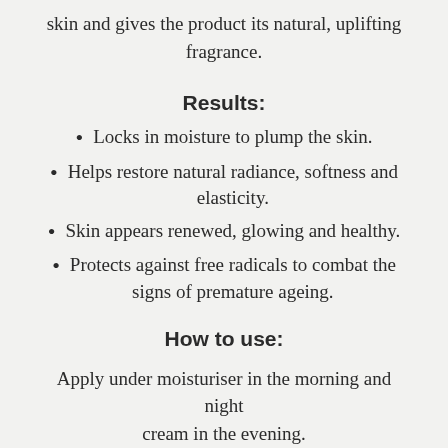skin and gives the product its natural, uplifting fragrance.
Results:
Locks in moisture to plump the skin.
Helps restore natural radiance, softness and elasticity.
Skin appears renewed, glowing and healthy.
Protects against free radicals to combat the signs of premature ageing.
How to use:
Apply under moisturiser in the morning and night cream in the evening.